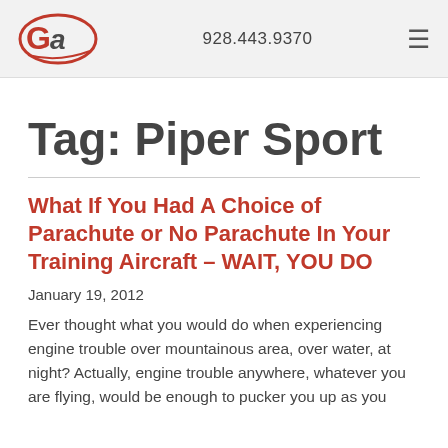928.443.9370
Tag: Piper Sport
What If You Had A Choice of Parachute or No Parachute In Your Training Aircraft – WAIT, YOU DO
January 19, 2012
Ever thought what you would do when experiencing engine trouble over mountainous area, over water, at night? Actually, engine trouble anywhere, whatever you are flying, would be enough to pucker you up as you